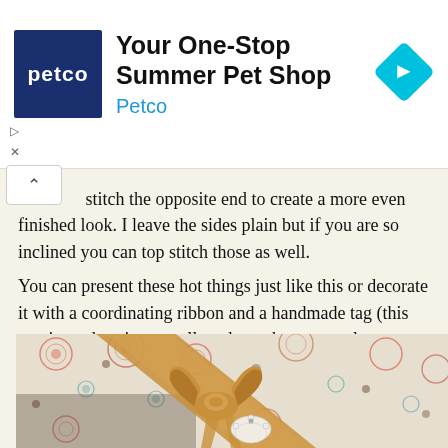[Figure (other): Petco advertisement banner with blue Petco logo on left, text 'Your One-Stop Summer Pet Shop' and 'Petco' in blue, and a cyan diamond navigation icon on right]
stitch the opposite end to create a more even finished look. I leave the sides plain but if you are so inclined you can top stitch those as well. You can present these hot things just like this or decorate it with a coordinating ribbon and a handmade tag (this one is made using a scalloped punch on natural paper, and then punched with a bird punch, and tied on to the ribbon with a piece of twine).
[Figure (photo): Close-up photo of a fabric item with a colorful circular pattern (pinks, blues, browns) decorated with a satin ribbon bow and a small white scalloped tag tied with twine]